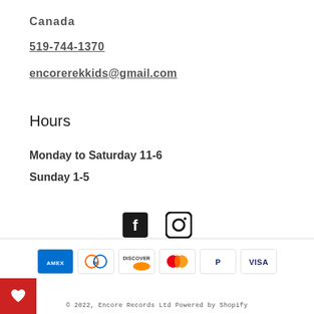Canada
519-744-1370
encorerekkids@gmail.com
Hours
Monday to Saturday 11-6
Sunday 1-5
[Figure (logo): Facebook and Instagram social media icons]
[Figure (logo): Payment method icons: Amex, Diners Club, Discover, Mastercard, PayPal, Visa]
© 2022, Encore Records Ltd Powered by Shopify